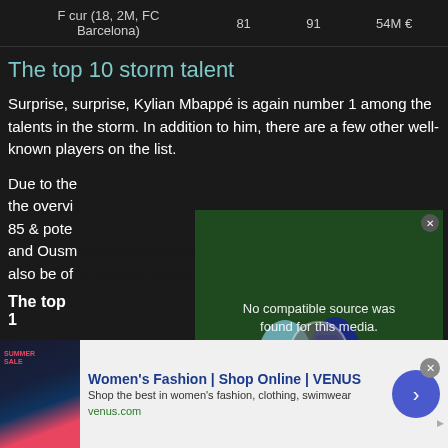|  |  |  |  |
| --- | --- | --- | --- |
| F cur (18, 2M, FC Barcelona) | 81 | 91 | 54M € |
The top 10 storm talent
Surprise, surprise, Kylian Mbappé is again number 1 among the talents in the storm. In addition to him, there are a few other well-known players on the list.
Due to the overvi 85 & pote and Ousm also be of
[Figure (photo): Soccer players in action on field, with video overlay showing 'No compatible source was found for this media.' message and X button. Text 'Midfielders' in italic overlay.]
The top 1
[Figure (other): Advertisement banner for Women's Fashion | Shop Online | VENUS. Shows summer sale image, ad text, venus.com URL, and blue arrow button.]